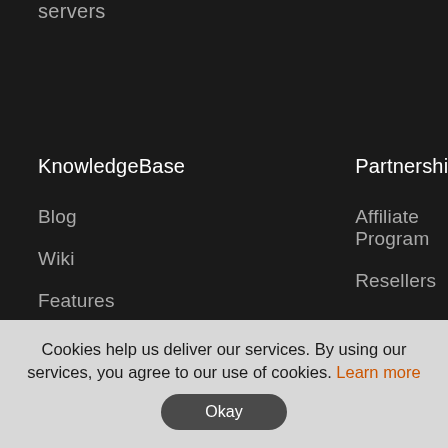servers
KnowledgeBase
Partnership
Blog
Affiliate Program
Wiki
Resellers
Features
Cookies help us deliver our services. By using our services, you agree to our use of cookies. Learn more
Okay